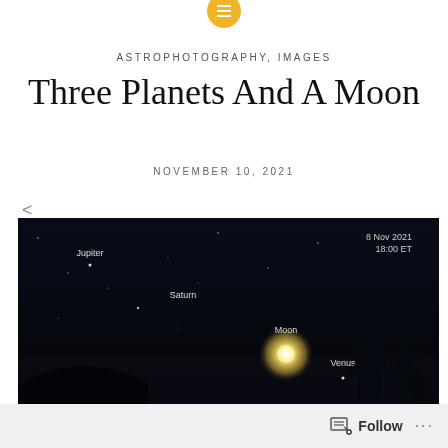ASTROPHOTOGRAPHY, IMAGES
Three Planets And A Moon
NOVEMBER 10, 2021
[Figure (photo): Night sky photograph showing Jupiter (upper left), Saturn (center left), Moon (center, bright glowing orb), and Venus (center right) labeled against a dark blue-black sky. Timestamp shown: 8 Nov 2021, 18:00 ET. Silhouette of trees visible at bottom right.]
Follow